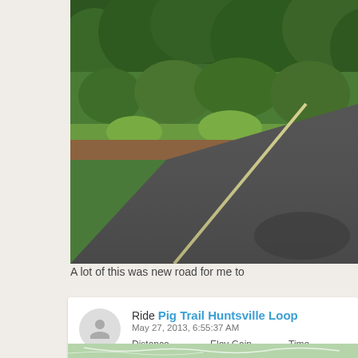[Figure (photo): A road curving through lush green trees and vegetation, with a yellow center line visible on the dark asphalt road surface.]
A lot of this was new road for me to
Ride Pig Trail Huntsville Loop
May 27, 2013, 6:55:37 AM
Distance  Elev Gain  Time
85.7 mi   3,976 ft  4h 24m
[Figure (map): Partial map strip showing a route map at the bottom of the card.]